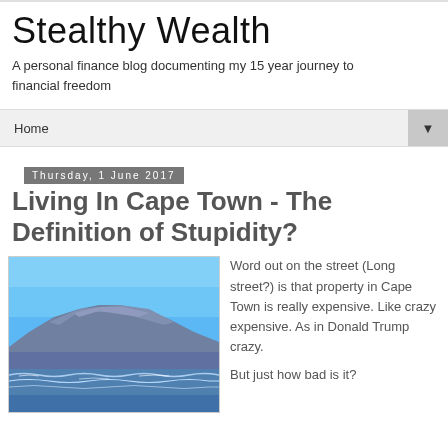Stealthy Wealth
A personal finance blog documenting my 15 year journey to financial freedom
Home ▼
Thursday, 1 June 2017
Living In Cape Town - The Definition of Stupidity?
[Figure (photo): Photo of Table Mountain in Cape Town with ocean waves in foreground, blue sky above]
Word out on the street (Long street?) is that property in Cape Town is really expensive. Like crazy expensive. As in Donald Trump crazy.

But just how bad is it?